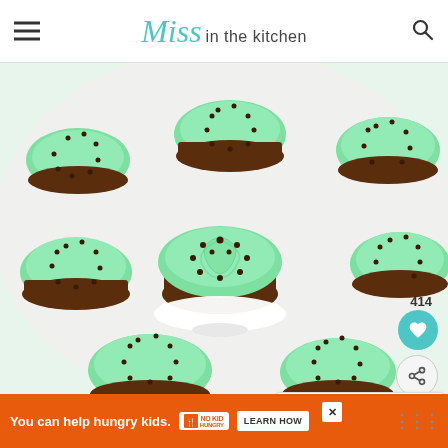Miss in the kitchen
[Figure (photo): Overhead view of chocolate cupcakes with swirled mint green frosting and mini chocolate chips on a white plate/stand]
414
WHAT'S NEXT → Biscoff Cupcakes
You can help hungry kids. NO KID HUNGRY LEARN HOW